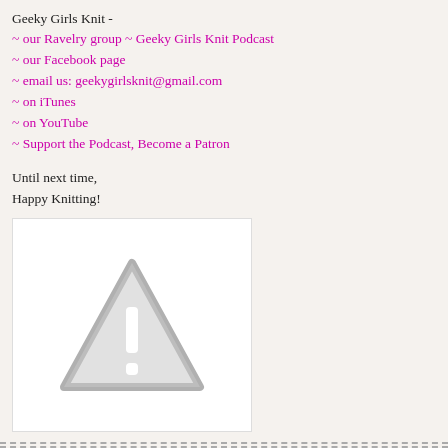Geeky Girls Knit -
~ our Ravelry group ~ Geeky Girls Knit Podcast
~ our Facebook page
~ email us: geekygirlsknit@gmail.com
~ on iTunes
~ on YouTube
~ Support the Podcast, Become a Patron
Until next time,
Happy Knitting!
[Figure (other): Broken image placeholder with warning triangle icon]